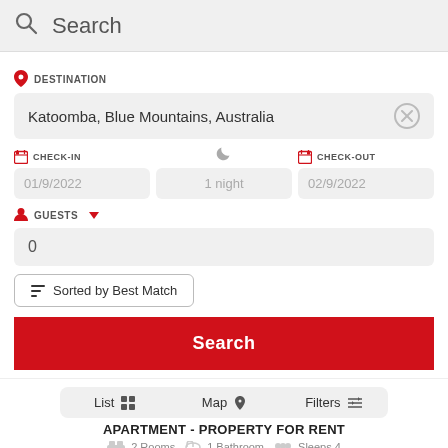Search
DESTINATION
Katoomba, Blue Mountains, Australia
CHECK-IN
01/9/2022
1 night
CHECK-OUT
02/9/2022
GUESTS
0
Sorted by Best Match
Search
List  Map  Filters
APARTMENT - PROPERTY FOR RENT
2 Rooms  1 Bathroom  Sleeps 4